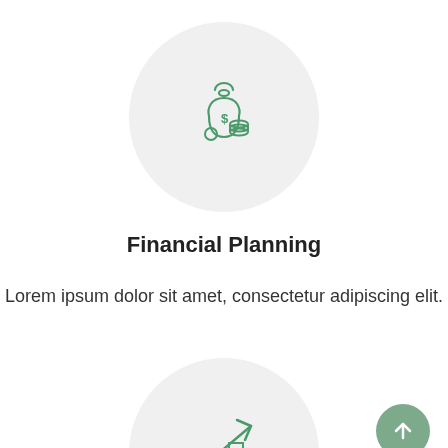[Figure (illustration): Circular light gray icon circle containing a green outline illustration of a money bag with coins stacked beside it]
Financial Planning
Lorem ipsum dolor sit amet, consectetur adipiscing elit.
[Figure (illustration): Circular light gray icon circle containing a green outline illustration of a bar chart with an upward arrow trend line, partially visible at bottom of page]
[Figure (other): Green circular FAB button with white upward arrow icon, positioned bottom right]